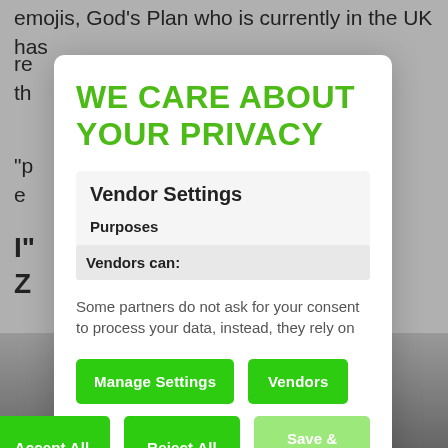emojis, God's Plan who is currently in the UK has re… th…
"p… e…
I"… Z…
[Figure (screenshot): Privacy consent modal overlay on a webpage background. Modal contains: title 'WE CARE ABOUT YOUR PRIVACY' in green, a 'Vendor Settings' section with 'Purposes' label, 'Vendors can:' row, body text 'Some partners do not ask for your consent to process your data, instead, they rely on', and buttons: Manage Settings, Vendors, Accept All, Reject All, Save & Exit.]
WE CARE ABOUT YOUR PRIVACY
Vendor Settings
Purposes
Vendors can:
Some partners do not ask for your consent to process your data, instead, they rely on